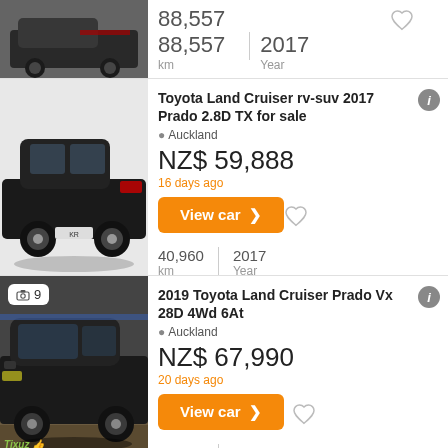[Figure (photo): Black SUV rear/side view, partial listing top]
88,557 km | 2017 Year
[Figure (photo): Black Toyota Land Cruiser Prado rear/side view]
Toyota Land Cruiser rv-suv 2017 Prado 2.8D TX for sale
Auckland
NZ$ 59,888
16 days ago
View car >
40,960 km | 2017 Year
[Figure (photo): Black Toyota Land Cruiser Prado front/side view, 9 photos]
2019 Toyota Land Cruiser Prado Vx 28D 4Wd 6At
Auckland
NZ$ 67,990
20 days ago
View car >
74,404 km | 2019 Year
Toyota Land Cruiser rv-suv 2016